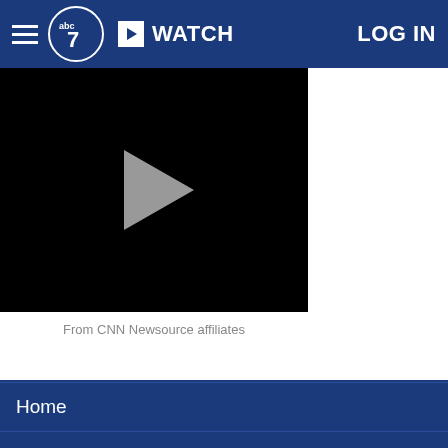ABC7 WATCH LOG IN
[Figure (screenshot): Black video player with grey play button triangle in center]
From CNN Newsource affiliates
Home
AccuWeather
Traffic
Local News
Categories
Station Info
Shows